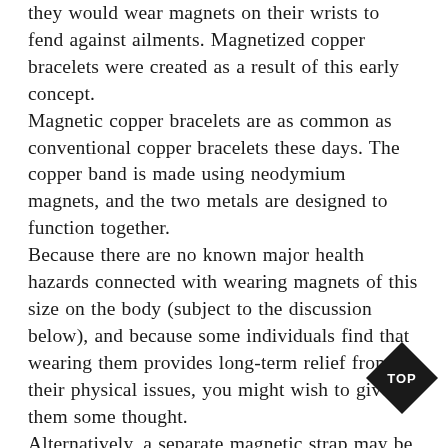they would wear magnets on their wrists to fend against ailments. Magnetized copper bracelets were created as a result of this early concept.
Magnetic copper bracelets are as common as conventional copper bracelets these days. The copper band is made using neodymium magnets, and the two metals are designed to function together.
Because there are no known major health hazards connected with wearing magnets of this size on the body (subject to the discussion below), and because some individuals find that wearing them provides long-term relief from their physical issues, you might wish to give them some thought.
Alternatively, a separate magnetic strap may be purchased to be used with an existing copper bracelet. Both gadgets will be able function in tandem on your wrist as long as they are on the same wrist.
[Figure (other): Black diamond shape with white text 'TOP' in the center, positioned in bottom-right corner of the page.]